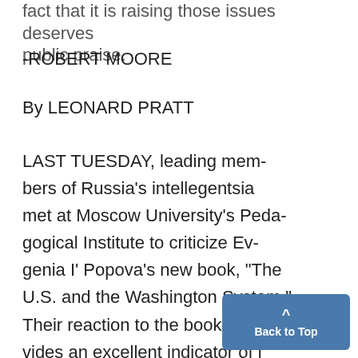fact that it is raising those issues deserves public praise.
-ROBERT MOORE
By LEONARD PRATT
LAST TUESDAY, leading members of Russia's intellegentsia met at Moscow University's Pedagogical Institute to criticize Evgenia I' Popova's new book, "The U.S. and the Washington System." Their reaction to the book provides an excellent indicator of important changes in the Soviet intellegentsia...